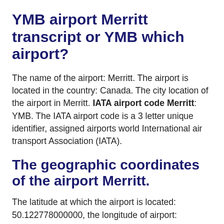YMB airport Merritt transcript or YMB which airport?
The name of the airport: Merritt. The airport is located in the country: Canada. The city location of the airport in Merritt. IATA airport code Merritt: YMB. The IATA airport code is a 3 letter unique identifier, assigned airports world International air transport Association (IATA).
The geographic coordinates of the airport Merritt.
The latitude at which the airport is located: 50.122778000000, the longitude of airport: -120.747222000000. Geographic coordinates of latitude and longitude define the position of the airport on the earth's surface. To fully define the position of the airport in three-